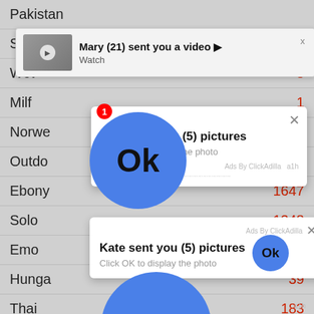[Figure (screenshot): Screenshot of a webpage with multiple ad popups overlaid. Background shows a list with items: Pakistan, Swims, Wet, Milf, Norwe, Outdo, Ebony, Solo, Emo, Hunga, Thai with numbers 8,1,1,1405,1647,1348,328,39,183. Two 'Kate sent you (5) pictures - Click OK to display the photo' popups from ClickAdilla ads are shown, plus a 'Mary (21) sent you a video - Watch' notification. Multiple blue 'Ok' buttons shown.]